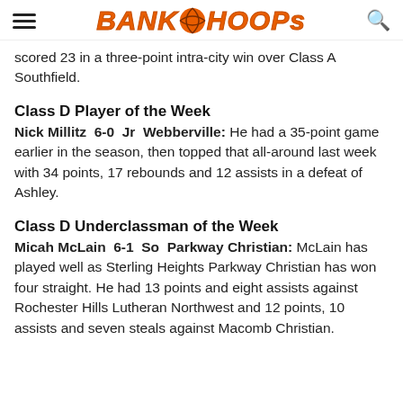BANK HOOPS
scored 23 in a three-point intra-city win over Class A Southfield.
Class D Player of the Week
Nick Millitz  6-0  Jr  Webberville: He had a 35-point game earlier in the season, then topped that all-around last week with 34 points, 17 rebounds and 12 assists in a defeat of Ashley.
Class D Underclassman of the Week
Micah McLain  6-1  So  Parkway Christian: McLain has played well as Sterling Heights Parkway Christian has won four straight. He had 13 points and eight assists against Rochester Hills Lutheran Northwest and 12 points, 10 assists and seven steals against Macomb Christian.